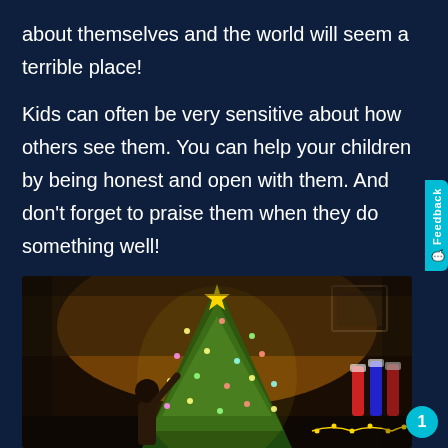about themselves and the world will seem a terrible place!
Kids can often be very sensitive about how others see them. You can help your children by being honest and open with them. And don't forget to praise them when they do something well!
[Figure (photo): A person decorating a glowing Christmas tree in a dimly lit room. Christmas stockings are visible on the right side. The tree is lit with warm fairy lights.]